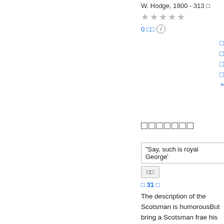W. Hodge, 1900 - 313
★★★★★
0 reviews (i)
□□□□□□□
"Say, such is royal George'
□□
◁ 31 ▷
The description of the Scotsman is humorousBut bring a Scotsman frae his hill , Clap in his cheek a Highland gill , + Say , such is royal George's